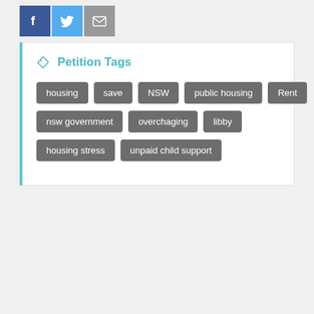[Figure (other): Social sharing icons: Facebook (blue), Twitter (light blue), Email (grey)]
Petition Tags
housing
save
NSW
public housing
Rent
nsw government
overchaging
libby
housing stress
unpaid child support